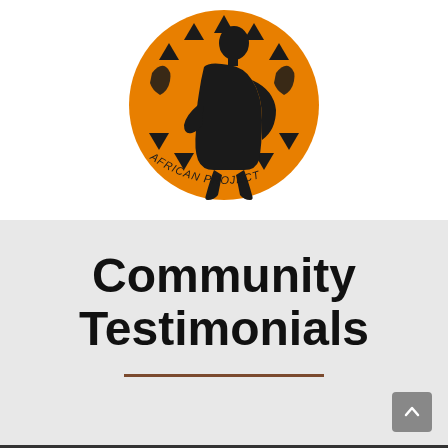[Figure (logo): African [Doula] Project logo: an orange circle with black silhouette of a pregnant woman, African continent outlines, and triangular ethnic patterns. Text around the bottom reads 'AFRICAN ... PROJECT'.]
Community Testimonials